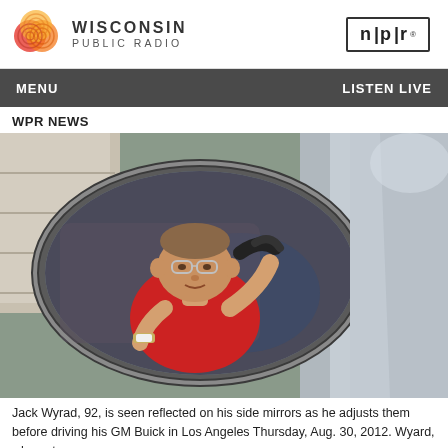Wisconsin Public Radio | NPR
WPR NEWS
[Figure (photo): Elderly man Jack Wyrad, 92, reflected in car side mirror while adjusting mirrors before driving his GM Buick in Los Angeles, Thursday Aug. 30, 2012. He is wearing a red shirt and glasses, gripping the steering wheel.]
Jack Wyrad, 92, is seen reflected on his side mirrors as he adjusts them before driving his GM Buick in Los Angeles Thursday, Aug. 30, 2012. Wyard, who got a